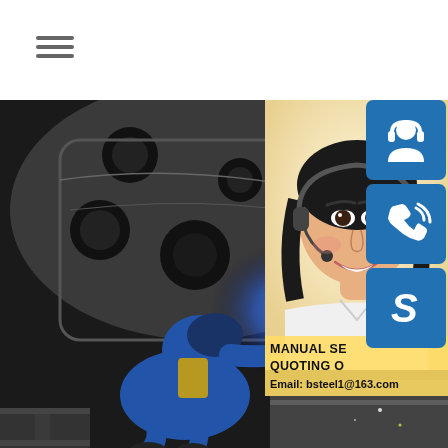[Figure (illustration): Hamburger menu icon (three horizontal lines) in top left corner]
[Figure (photo): Industrial welding scene: worker in blue coveralls welding a large heavy steel machined part/fixture, bright blue arc welding sparks visible, dark industrial workshop background. Bottom right portion shows steel plate on ground with sparks.]
[Figure (photo): Smiling Asian woman customer service representative wearing headset, against light/yellow background, overlaid on the right side of the industrial photo]
[Figure (infographic): Three blue rounded-square icons stacked vertically on the right edge: headset/customer support icon, phone with signal waves icon, and Skype 'S' logo icon]
MANUAL SE
QUOTING O
Email: bsteel1@163.com